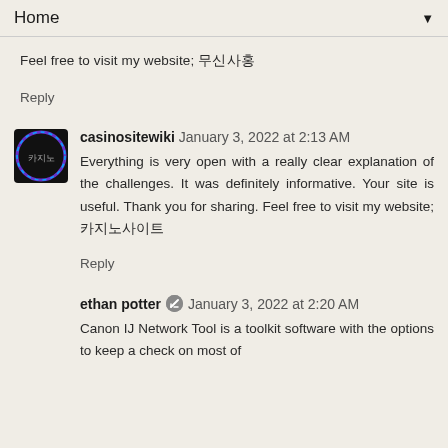Home ▼
Feel free to visit my website; 안전놀이터
Reply
casinositewiki  January 3, 2022 at 2:13 AM
Everything is very open with a really clear explanation of the challenges. It was definitely informative. Your site is useful. Thank you for sharing. Feel free to visit my website; 카지노사이트
Reply
ethan potter  January 3, 2022 at 2:20 AM
Canon IJ Network Tool is a toolkit software with the options to keep a check on most of